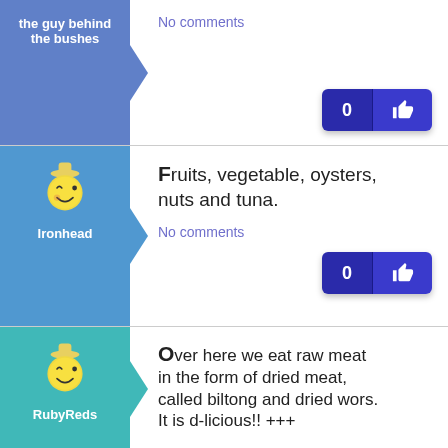the guy behind the bushes
No comments
Ironhead
Fruits, vegetable, oysters, nuts and tuna.
No comments
RubyReds
Over here we eat raw meat in the form of dried meat, called biltong and dried wors. It is d-licious!! +++